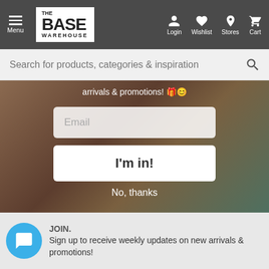Menu | THE BASE WAREHOUSE | Login | Wishlist | Stores | Cart
Search for products, categories & inspiration
arrivals & promotions! 🎁😊
Email
I'm in!
No, thanks
JOIN. Sign up to receive weekly updates on new arrivals & promotions!